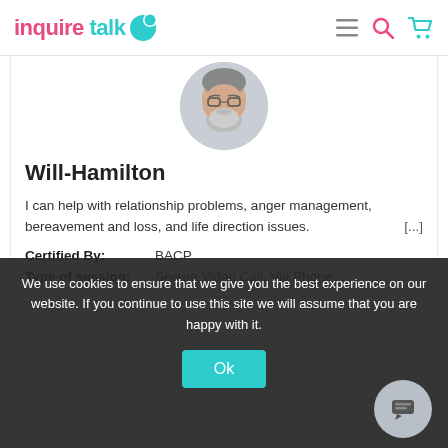inquire talk
[Figure (photo): Circular profile photo of a middle-aged man with grey beard and glasses against a light grey background]
Will-Hamilton
I can help with relationship problems, anger management, bereavement and loss, and life direction issues. [...]
Certified By: BACP
Type of session: Secure Video Call, Via Phone
We use cookies to ensure that we give you the best experience on our website. If you continue to use this site we will assume that you are happy with it.